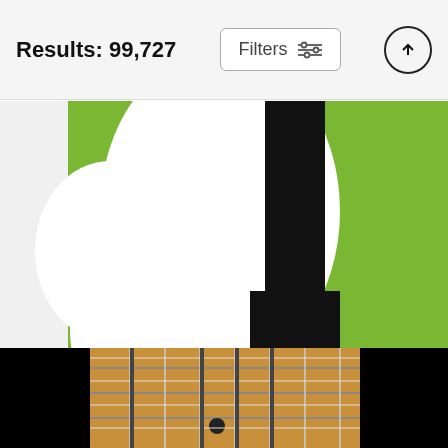Results: 99,727   Filters
[Figure (illustration): Minimalist art print of Buddy Holly on green background with white and black shapes, partial view]
No056 MY BUDDY HOLLY Minimal Music poster Art Print
Chungkong Art
$20 (strikethrough) $16
[Figure (photo): Close-up photo of a guitar fretboard with maple neck, black frets on dark background]